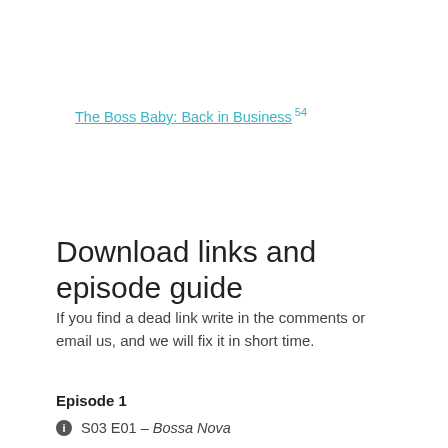The Boss Baby: Back in Business 54
Download links and episode guide
If you find a dead link write in the comments or email us, and we will fix it in short time.
Episode 1
ℹ S03 E01 – Bossa Nova